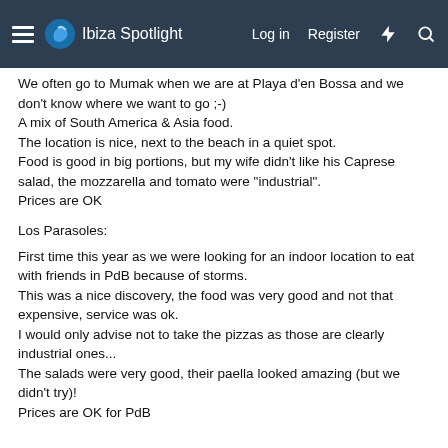Ibiza Spotlight | Log in | Register
We often go to Mumak when we are at Playa d'en Bossa and we don't know where we want to go ;-)
A mix of South America & Asia food.
The location is nice, next to the beach in a quiet spot.
Food is good in big portions, but my wife didn't like his Caprese salad, the mozzarella and tomato were "industrial".
Prices are OK
Los Parasoles:
First time this year as we were looking for an indoor location to eat with friends in PdB because of storms.
This was a nice discovery, the food was very good and not that expensive, service was ok.
I would only advise not to take the pizzas as those are clearly industrial ones...
The salads were very good, their paella looked amazing (but we didn't try)!
Prices are OK for PdB